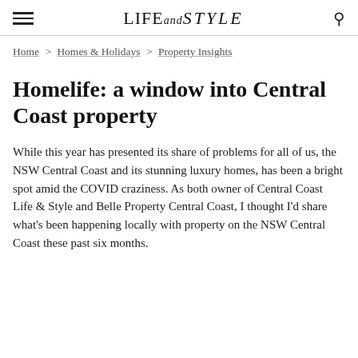LIFE and STYLE
Home > Homes & Holidays > Property Insights
Homelife: a window into Central Coast property
While this year has presented its share of problems for all of us, the NSW Central Coast and its stunning luxury homes, has been a bright spot amid the COVID craziness. As both owner of Central Coast Life & Style and Belle Property Central Coast, I thought I'd share what's been happening locally with property on the NSW Central Coast these past six months.